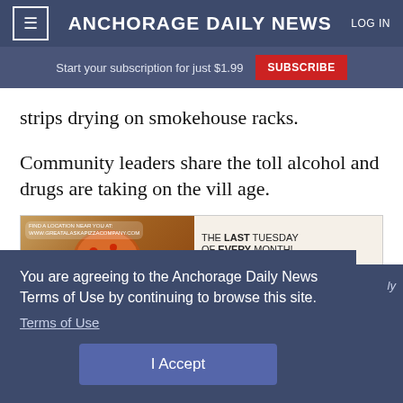ANCHORAGE DAILY NEWS | LOG IN
Start your subscription for just $1.99 SUBSCRIBE
strips drying on smokehouse racks.
Community leaders share the toll alcohol and drugs are taking on the village.
[Figure (infographic): Advertisement for Great Alaska Pizza Company - THE LAST TUESDAY OF EVERY MONTH! text with pizza image]
You are agreeing to the Anchorage Daily News Terms of Use by continuing to browse this site.
Terms of Use
I Accept